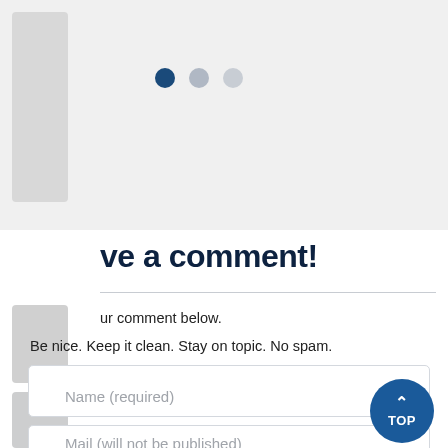[Figure (screenshot): Carousel navigation dots: one dark blue filled dot, one medium grey dot, one light grey dot]
ve a comment!
ur comment below.
Be nice. Keep it clean. Stay on topic. No spam.
Name (required)
Mail (will not be published)